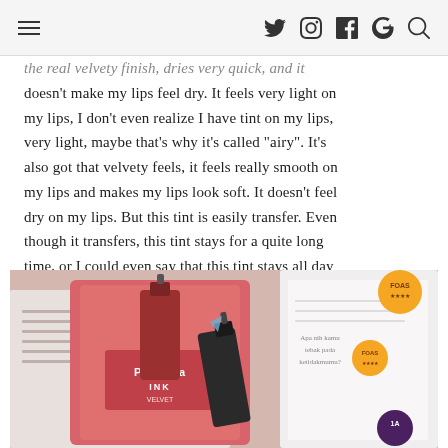Navigation header with hamburger menu and social icons: Twitter, Instagram, Facebook, Google+, Search
the real velvety finish, dries very quick, and it doesn't make my lips feel dry. It feels very light on my lips, I don't even realize I have tint on my lips, very light, maybe that's why it's called "airy". It's also got that velvety feels, it feels really smooth on my lips and makes my lips look soft. It doesn't feel dry on my lips. But this tint is easily transfer. Even though it transfers, this tint stays for a quite long time, or I could even say that this tint stays all day long!
[Figure (photo): Photo of lip tint products including Peripera INK Velvet bottles with dropper tops on a pink/rose packaging background with printed text and orange circular badges]